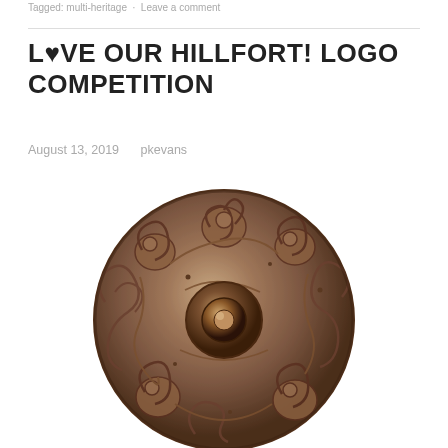Tagged: multi-heritage · Leave a comment
L♥VE OUR HILLFORT! LOGO COMPETITION
August 13, 2019   pkevans
[Figure (photo): A circular decorative metal disc (bronze/copper) with ornate Celtic-style raised swirling patterns and a central boss/dome, photographed against a white background.]